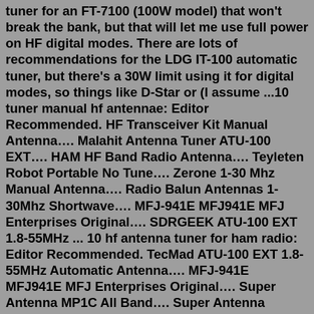tuner for an FT-7100 (100W model) that won't break the bank, but that will let me use full power on HF digital modes. There are lots of recommendations for the LDG IT-100 automatic tuner, but there's a 30W limit using it for digital modes, so things like D-Star or (I assume ...10 tuner manual hf antennae: Editor Recommended. HF Transceiver Kit Manual Antenna…. Malahit Antenna Tuner ATU-100 EXT…. HAM HF Band Radio Antenna…. Teyleten Robot Portable No Tune…. Zerone 1-30 Mhz Manual Antenna…. Radio Balun Antennas 1-30Mhz Shortwave…. MFJ-941E MFJ941E MFJ Enterprises Original…. SDRGEEK ATU-100 EXT 1.8-55MHz ... 10 hf antenna tuner for ham radio: Editor Recommended. TecMad ATU-100 EXT 1.8-55MHz Automatic Antenna…. MFJ-941E MFJ941E MFJ Enterprises Original…. Super Antenna MP1C All Band…. Super Antenna MP1DXG HF Portable…. GRA-1899T multiband HF VHF (80m-6m)…. Super Antenna MP1DXMAX Low Profile…. Even though the FT-991A has an internal antenna tuner I've just